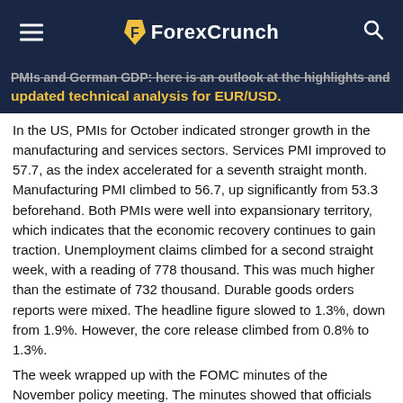ForexCrunch
PMIs and German GDP: here is an outlook at the highlights and updated technical analysis for EUR/USD.
In the US, PMIs for October indicated stronger growth in the manufacturing and services sectors. Services PMI improved to 57.7, as the index accelerated for a seventh straight month. Manufacturing PMI climbed to 56.7, up significantly from 53.3 beforehand. Both PMIs were well into expansionary territory, which indicates that the economic recovery continues to gain traction. Unemployment claims climbed for a second straight week, with a reading of 778 thousand. This was much higher than the estimate of 732 thousand. Durable goods orders reports were mixed. The headline figure slowed to 1.3%, down from 1.9%. However, the core release climbed from 0.8% to 1.3%.
The week wrapped up with the FOMC minutes of the November policy meeting. The minutes showed that officials did not believe any changes were needed to the current bond-purchase scheme of $120 billion/month. At the same time, they were of the opinion that
"circumstances could shift to warrant such adjustments"